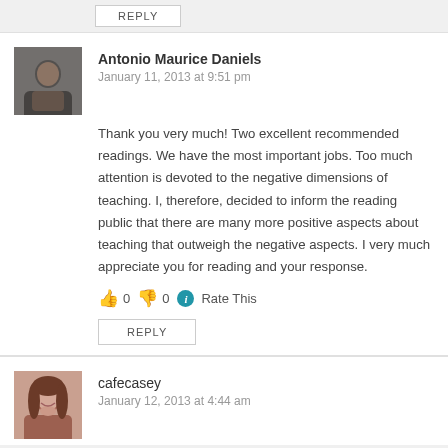REPLY
Antonio Maurice Daniels
January 11, 2013 at 9:51 pm
Thank you very much! Two excellent recommended readings. We have the most important jobs. Too much attention is devoted to the negative dimensions of teaching. I, therefore, decided to inform the reading public that there are many more positive aspects about teaching that outweigh the negative aspects. I very much appreciate you for reading and your response.
👍 0 👎 0 ℹ Rate This
REPLY
cafecasey
January 12, 2013 at 4:44 am